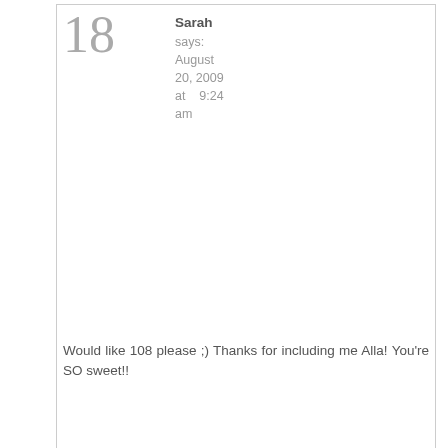18 — Sarah says: August 20, 2009 at 9:24 am — Would like 108 please ;) Thanks for including me Alla! You're SO sweet!!
19 — SANDRA MAIN says: August 28, 2009 at 12:16 pm — BUMMER! THE...